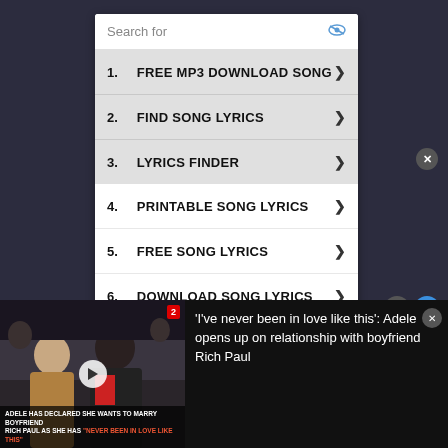[Figure (screenshot): Search ad box with 'Search for' bar and eye icon]
1. FREE MP3 DOWNLOAD SONG
2. FIND SONG LYRICS
3. LYRICS FINDER
4. PRINTABLE SONG LYRICS
5. FREE SONG LYRICS
6. DOWNLOAD SONG LYRICS
Ad | Business Focus
'I've never been in love like this': Adele opens up on relationship with boyfriend Rich Paul